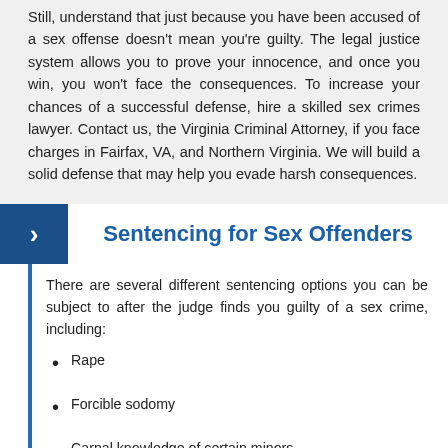Still, understand that just because you have been accused of a sex offense doesn't mean you're guilty. The legal justice system allows you to prove your innocence, and once you win, you won't face the consequences. To increase your chances of a successful defense, hire a skilled sex crimes lawyer. Contact us, the Virginia Criminal Attorney, if you face charges in Fairfax, VA, and Northern Virginia. We will build a solid defense that may help you evade harsh consequences.
Sentencing for Sex Offenders
There are several different sentencing options you can be subject to after the judge finds you guilty of a sex crime, including:
Rape
Forcible sodomy
Carnal knowledge of certain minors
Carnal knowledge of a child between 13 and 15 years